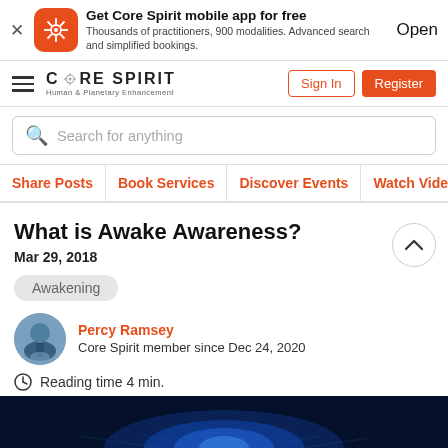Get Core Spirit mobile app for free
Thousands of practitioners, 900 modalities. Advanced search and simplified bookings.
Open
[Figure (logo): Core Spirit logo with hamburger menu, sign in and register buttons]
Search for anything
Share Posts | Book Services | Discover Events | Watch Videos
What is Awake Awareness?
Mar 29, 2018
Awakening
Percy Ramsey
Core Spirit member since Dec 24, 2020
Reading time 4 min.
[Figure (photo): Blue glowing digital background image at the bottom of the page]